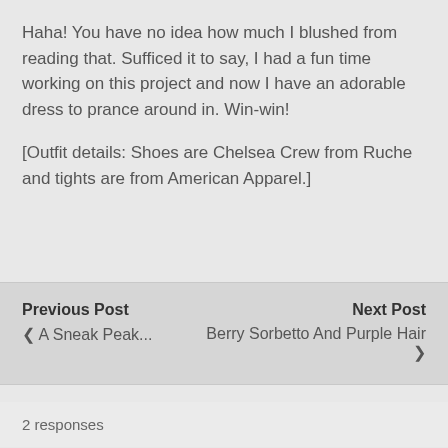Haha! You have no idea how much I blushed from reading that. Sufficed it to say, I had a fun time working on this project and now I have an adorable dress to prance around in. Win-win!
[Outfit details: Shoes are Chelsea Crew from Ruche and tights are from American Apparel.]
Previous Post | ❮ A Sneak Peak... | Next Post | Berry Sorbetto And Purple Hair ❯
2 responses